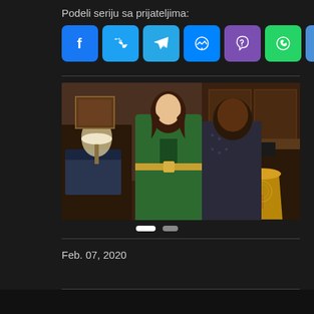Podeli seriju sa prijateljima:
[Figure (infographic): Row of social media share buttons: Facebook (blue), Twitter (blue), Telegram (blue), Messenger (blue), Viber (purple), WhatsApp (green), Plus/Share (light blue)]
[Figure (photo): Scene from a TV series showing a woman in a green suit and a man in a dark patterned shirt facing each other in a warmly lit room with wooden furniture and a lamp]
Feb. 07, 2020
[Figure (infographic): Bottom bar with share buttons: Facebook (blue), Twitter (blue), red button, pink/red button]